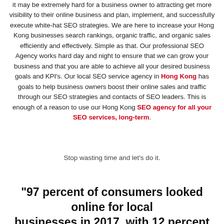it may be extremely hard for a business owner to attracting get more visibility to their online business and plan, implement, and successfully execute white-hat SEO strategies. We are here to increase your Hong Kong businesses search rankings, organic traffic, and organic sales efficiently and effectively. Simple as that. Our professional SEO Agency works hard day and night to ensure that we can grow your business and that you are able to achieve all your desired business goals and KPI's. Our local SEO service agency in Hong Kong has goals to help business owners boost their online sales and traffic through our SEO strategies and contacts of SEO leaders. This is enough of a reason to use our Hong Kong SEO agency for all your SEO services, long-term.
Stop wasting time and let's do it.
"97 percent of consumers looked online for local businesses in 2017, with 12 percent looking for a